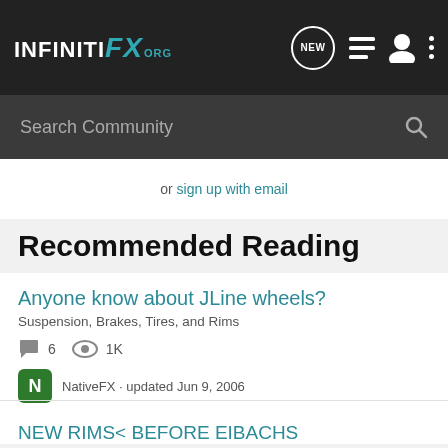INFINITI FX .org — navigation header with search bar
or sign up with email
Recommended Reading
Anyone know about JLine wheels?
Suspension, Brakes, Tires, and Rims
6 comments · 1K views
NativeFX · updated Jun 9, 2006
NEW RIMS< BEFORE EIBACHS